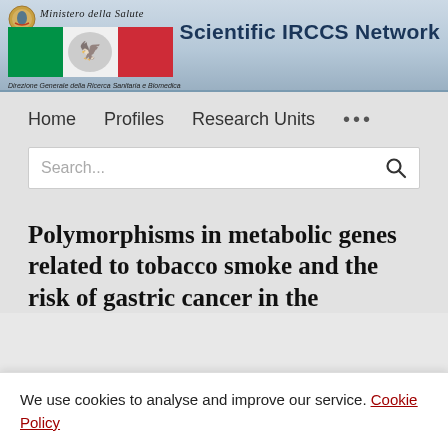Scientific IRCCS Network — Ministero della Salute — Direzione Generale della Ricerca Sanitaria e Biomedica
Home   Profiles   Research Units   ...
Search...
Polymorphisms in metabolic genes related to tobacco smoke and the risk of gastric cancer in the
We use cookies to analyse and improve our service. Cookie Policy